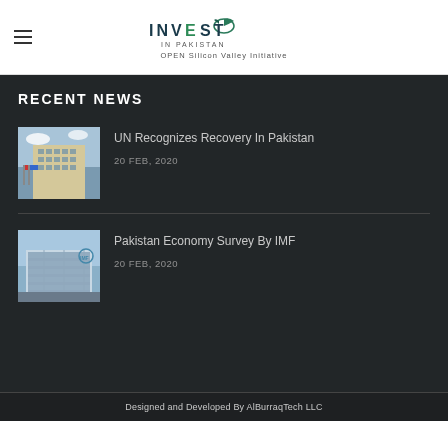[Figure (logo): Invest In Pakistan logo with bird icon and text 'OPEN Silicon Valley Initiative']
RECENT NEWS
[Figure (photo): UN building with flags]
UN Recognizes Recovery In Pakistan
20 FEB, 2020
[Figure (photo): IMF building]
Pakistan Economy Survey By IMF
20 FEB, 2020
Designed and Developed By AlBurraqTech LLC